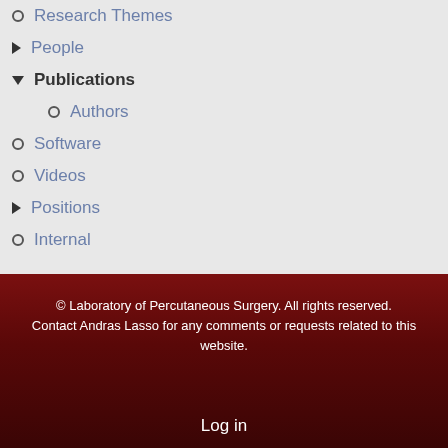Research Themes
People
Publications
Authors
Software
Videos
Positions
Internal
© Laboratory of Percutaneous Surgery. All rights reserved. Contact Andras Lasso for any comments or requests related to this website.
Log in